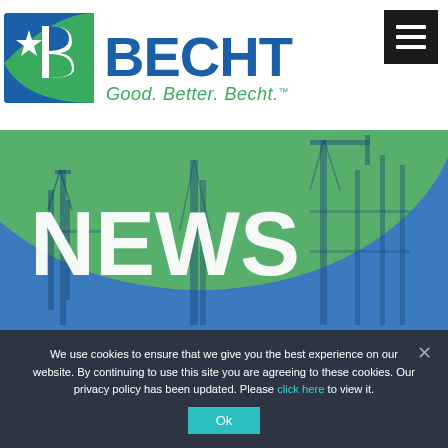[Figure (logo): Becht logo with blue and green B icon and text 'BECHT Good. Better. Becht.']
[Figure (photo): News banner with industrial refinery/crane background image tinted blue and green, with large white 'NEWS' text overlay]
We use cookies to ensure that we give you the best experience on our website. By continuing to use this site you are agreeing to these cookies. Our privacy policy has been updated. Please click here to view it.
Ok